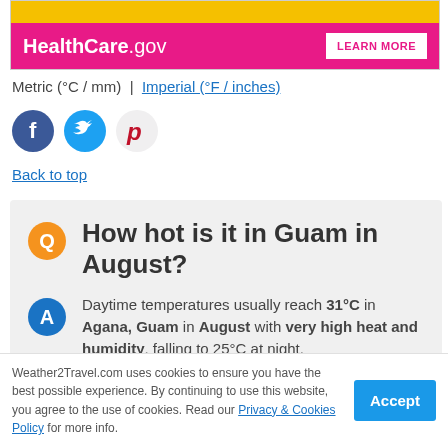[Figure (other): HealthCare.gov advertisement banner with pink background and Learn More button]
Metric (°C / mm)  |  Imperial (°F / inches)
[Figure (other): Social media sharing icons: Facebook, Twitter, Pinterest]
Back to top
Q  How hot is it in Guam in August?
A  Daytime temperatures usually reach 31°C in Agana, Guam in August with very high heat and humidity, falling to 25°C at night.
Weather2Travel.com uses cookies to ensure you have the best possible experience. By continuing to use this website, you agree to the use of cookies. Read our Privacy & Cookies Policy for more info.